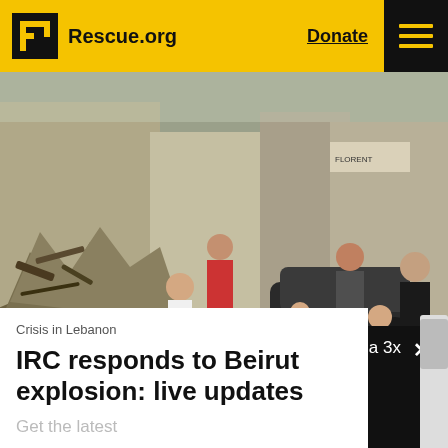Rescue.org   Donate
[Figure (photo): People clearing rubble and debris in Beirut after the explosion. Several people including a child, men with masks, and volunteers are visible amid destroyed buildings and wreckage. A wheelbarrow is in the scene.]
Crisis in Lebanon
IRC responds to Beirut explosion: live updates
Get the latest
Help children and families in crisis zones with a 3x matched gift.   Donate now ♡